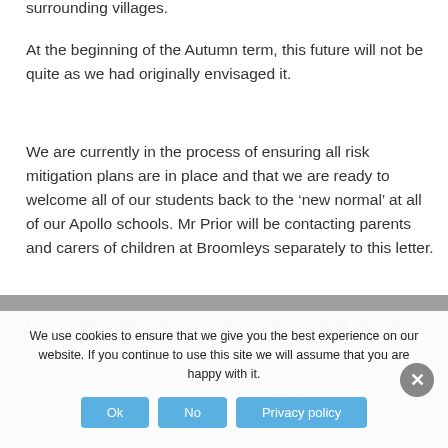surrounding villages.
At the beginning of the Autumn term, this future will not be quite as we had originally envisaged it.
We are currently in the process of ensuring all risk mitigation plans are in place and that we are ready to welcome all of our students back to the ‘new normal’ at all of our Apollo schools. Mr Prior will be contacting parents and carers of children at Broomleys separately to this letter.
For our secondary schools, we intend to spend the first three days of the Autumn term welcoming students into our bubbles and getting them used to what it means to being in the bubble / year group groups.
By introducing our help supports we are able t…
We use cookies to ensure that we give you the best experience on our website. If you continue to use this site we will assume that you are happy with it.